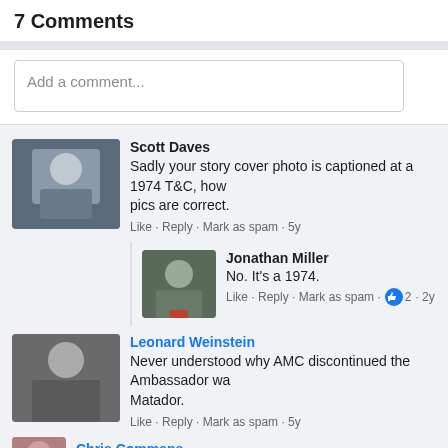7 Comments
Add a comment...
Scott Daves
Sadly your story cover photo is captioned at a 1974 T&C, how pics are correct.
Like · Reply · Mark as spam · 5y
Jonathan Miller
No. It's a 1974.
Like · Reply · Mark as spam · 2 · 2y
Leonard Weinstein
Never understood why AMC discontinued the Ambassador wa Matador.
Like · Reply · Mark as spam · 5y
Chris Commans